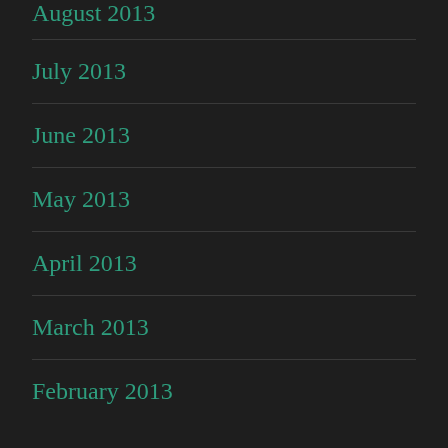August 2013
July 2013
June 2013
May 2013
April 2013
March 2013
February 2013